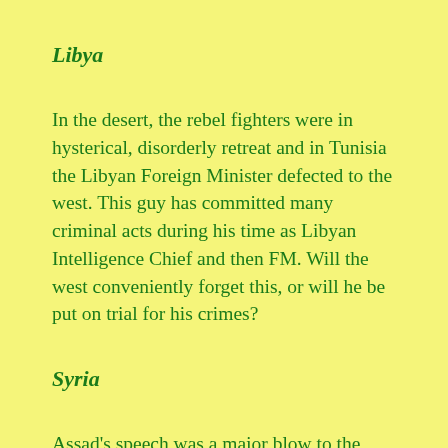Libya
In the desert, the rebel fighters were in hysterical, disorderly retreat and in Tunisia the Libyan Foreign Minister defected to the west. This guy has committed many criminal acts during his time as Libyan Intelligence Chief and then FM. Will the west conveniently forget this, or will he be put on trial for his crimes?
Syria
Assad's speech was a major blow to the aspirations of the Syrian masses. It is clear that